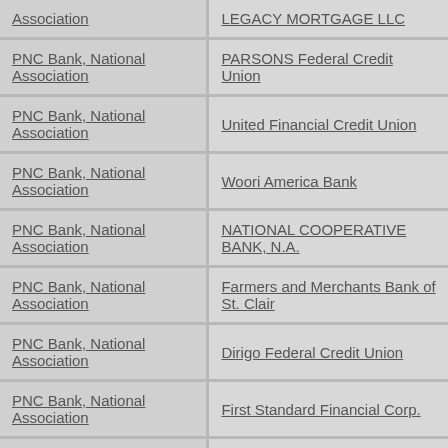| Agent/Lender | Correspondent |
| --- | --- |
| PNC Bank, National Association | LEGACY MORTGAGE LLC |
| PNC Bank, National Association | PARSONS Federal Credit Union |
| PNC Bank, National Association | United Financial Credit Union |
| PNC Bank, National Association | Woori America Bank |
| PNC Bank, National Association | NATIONAL COOPERATIVE BANK, N.A. |
| PNC Bank, National Association | Farmers and Merchants Bank of St. Clair |
| PNC Bank, National Association | Dirigo Federal Credit Union |
| PNC Bank, National Association | First Standard Financial Corp. |
| PNC Bank, National Association | FIVE COUNTY |